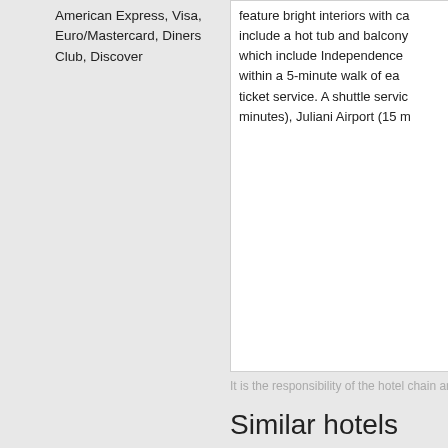American Express, Visa, Euro/Mastercard, Diners Club, Discover
feature bright interiors with ca... include a hot tub and balcony... which include Independence... within a 5-minute walk of ea... ticket service. A shuttle servic... minutes), Juliani Airport (15 m...
It is the responsibility of the hotel chain an...
Similar hotels
Uarent A...
Mykhailivska Str.3...
Centrally locate... minute walk of... practical,